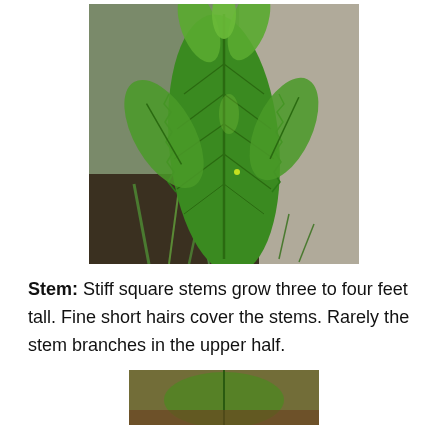[Figure (photo): Close-up photograph of a large green serrated leaf from a plant, with multiple smaller leaves visible and a gravel/concrete background.]
Stem: Stiff square stems grow three to four feet tall. Fine short hairs cover the stems. Rarely the stem branches in the upper half.
[Figure (photo): Partial photograph at the bottom of the page showing plant material, cropped.]